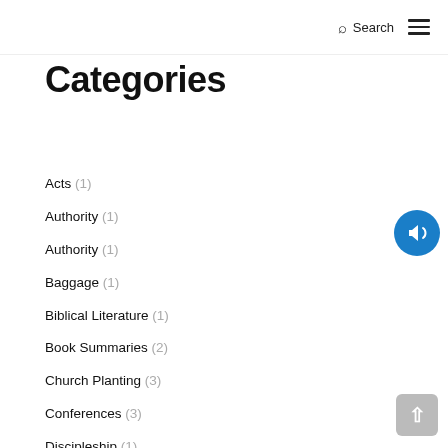Search ☰
Categories
Acts (1)
Authority (1)
Authority (1)
Baggage (1)
Biblical Literature (1)
Book Summaries (2)
Church Planting (3)
Conferences (3)
Discipleship (1)